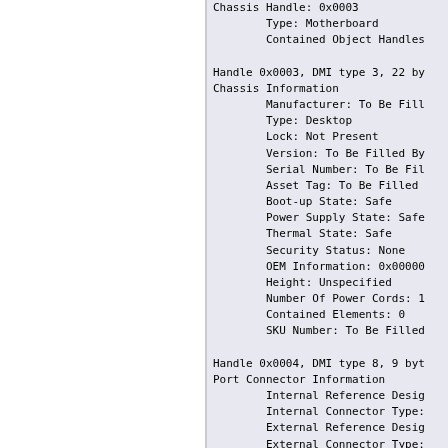Chassis Handle: 0x0003
        Type: Motherboard
        Contained Object Handles:

Handle 0x0003, DMI type 3, 22 by
Chassis Information
        Manufacturer: To Be Fill
        Type: Desktop
        Lock: Not Present
        Version: To Be Filled By
        Serial Number: To Be Fil
        Asset Tag: To Be Filled
        Boot-up State: Safe
        Power Supply State: Safe
        Thermal State: Safe
        Security Status: None
        OEM Information: 0x00000
        Height: Unspecified
        Number Of Power Cords: 1
        Contained Elements: 0
        SKU Number: To Be Filled

Handle 0x0004, DMI type 8, 9 byt
Port Connector Information
        Internal Reference Desig
        Internal Connector Type:
        External Reference Desig
        External Connector Type:
        Port Type: Mouse Port

Handle 0x0005, DMI type 8, 9 byt
Port Connector Information
        Internal Reference Desig